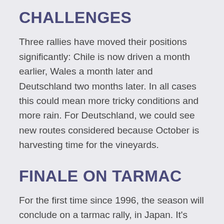CHALLENGES
Three rallies have moved their positions significantly: Chile is now driven a month earlier, Wales a month later and Deutschland two months later. In all cases this could mean more tricky conditions and more rain. For Deutschland, we could see new routes considered because October is harvesting time for the vineyards.
FINALE ON TARMAC
For the first time since 1996, the season will conclude on a tarmac rally, in Japan. It’s usually beneficial to start first on the road on a tarmac rally. Also, the all-tarmac Deutschland is the third-to-last event and between them Monacos the third-to-last